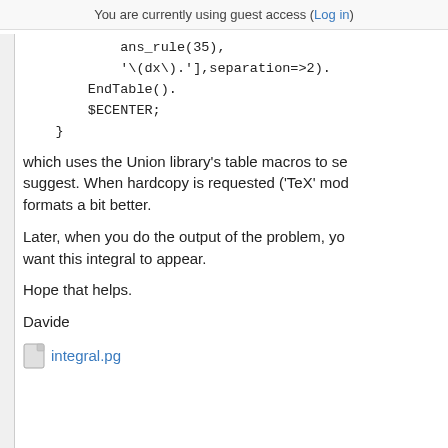You are currently using guest access (Log in)
ans_rule(35),
            '\(dx\).'],separation=>2).
        EndTable().
        $ECENTER;
    }
which uses the Union library's table macros to set suggest. When hardcopy is requested ('TeX' mod formats a bit better.
Later, when you do the output of the problem, you want this integral to appear.
Hope that helps.
Davide
[Figure (other): File attachment icon with link labeled integral.pg]